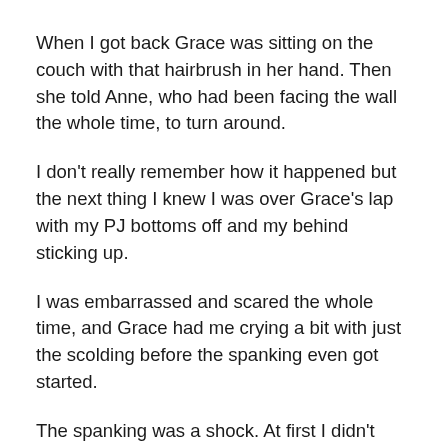When I got back Grace was sitting on the couch with that hairbrush in her hand. Then she told Anne, who had been facing the wall the whole time, to turn around.
I don't really remember how it happened but the next thing I knew I was over Grace's lap with my PJ bottoms off and my behind sticking up.
I was embarrassed and scared the whole time, and Grace had me crying a bit with just the scolding before the spanking even got started.
The spanking was a shock. At first I didn't quite take it in. It was just a crack and a blast on my behind. Then it hurt. Then it really, really hurt. Then I was thrashing about yelling my head off like a kid, crying from the start.
At first I kind of felt where the hairbrush was landing and…